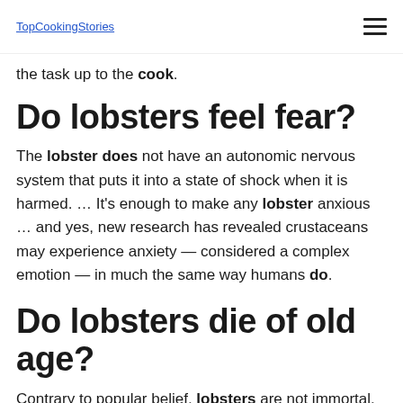TopCookingStories
the task up to the cook.
Do lobsters feel fear?
The lobster does not have an autonomic nervous system that puts it into a state of shock when it is harmed. … It's enough to make any lobster anxious … and yes, new research has revealed crustaceans may experience anxiety — considered a complex emotion — in much the same way humans do.
Do lobsters die of old age?
Contrary to popular belief, lobsters are not immortal. … Eventually, the lobster will die from exhaustion during a